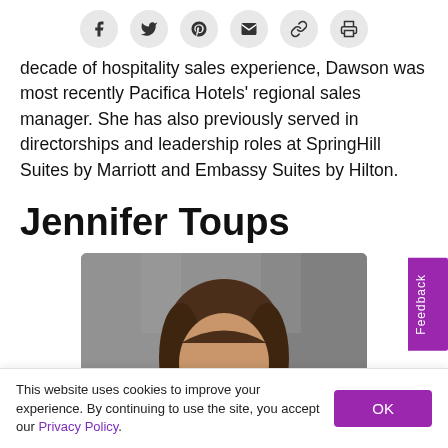[Figure (other): Social share buttons row: Facebook, Twitter, Pinterest, Email, Link, Print icons in gray circles]
decade of hospitality sales experience, Dawson was most recently Pacifica Hotels' regional sales manager. She has also previously served in directorships and leadership roles at SpringHill Suites by Marriott and Embassy Suites by Hilton.
Jennifer Toups
[Figure (photo): Headshot photo of Jennifer Toups, a woman with shoulder-length brown hair, gray background]
Feedback
This website uses cookies to improve your experience. By continuing to use the site, you accept our Privacy Policy.